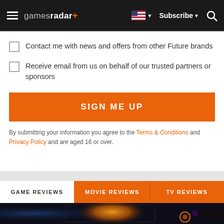gamesradar+ | Subscribe | Search
Contact me with news and offers from other Future brands
Receive email from us on behalf of our trusted partners or sponsors
SIGN ME UP
By submitting your information you agree to the Terms & Conditions and Privacy Policy and are aged 16 or over.
GAME REVIEWS | MOVIE REVIEWS | TV REVIEWS
[Figure (photo): Gaming setup with monitor displaying a bright game scene, dark background with blue and orange lighting]